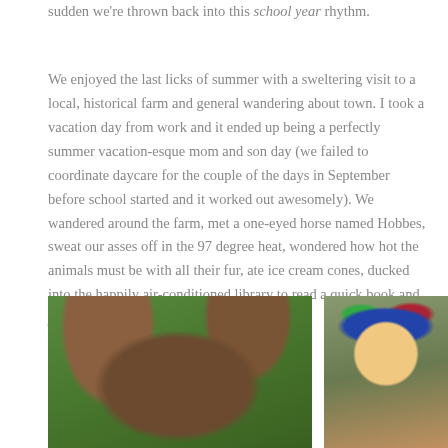sudden we're thrown back into this school year rhythm.
We enjoyed the last licks of summer with a sweltering visit to a local, historical farm and general wandering about town. I took a vacation day from work and it ended up being a perfectly summer vacation-esque mom and son day (we failed to coordinate daycare for the couple of the days in September before school started and it worked out awesomely). We wandered around the farm, met a one-eyed horse named Hobbes, sweat our asses off in the 97 degree heat, wondered how hot the animals must be with all their fur, ate ice cream cones, ducked into the happily air-conditioned library to read a quick book and just generally hung out.
[Figure (photo): Close-up photo of an animal (likely a goat or deer) face with brown fur, set against a green outdoor background]
[Figure (photo): Photo of a young boy wearing a colorful patterned baseball cap, standing near a wooden fence or structure]